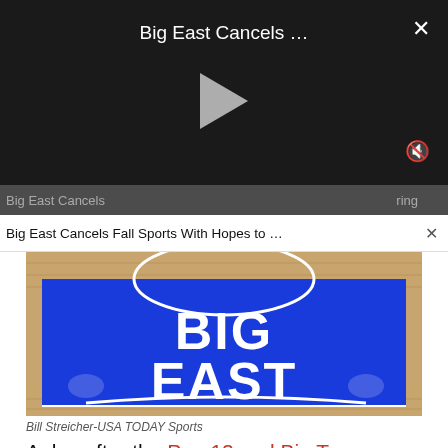Big East Cancels …
[Figure (screenshot): Video player overlay showing Big East Cancels ... title with play button and mute/close controls on dark background]
Big East Cancels Fall Sports With Hopes to ...
[Figure (photo): Big East logo painted on a blue basketball court surface with hardwood floor visible around it]
Bill Streicher-USA TODAY Sports
A day after the Pac-12 and Big Ten canceled their